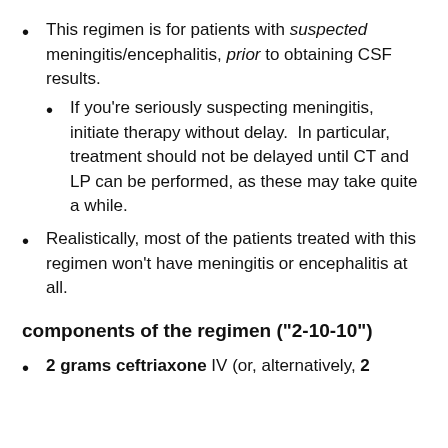This regimen is for patients with suspected meningitis/encephalitis, prior to obtaining CSF results.
If you're seriously suspecting meningitis, initiate therapy without delay.  In particular, treatment should not be delayed until CT and LP can be performed, as these may take quite a while.
Realistically, most of the patients treated with this regimen won't have meningitis or encephalitis at all.
components of the regimen ("2-10-10")
2 grams ceftriaxone IV (or, alternatively, 2